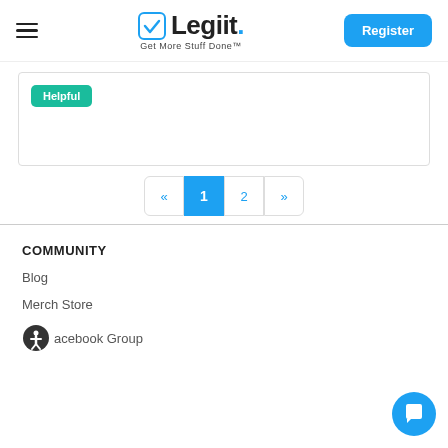Legiit · Get More Stuff Done™ | Register
[Figure (screenshot): Helpful button tag (teal/green rounded rectangle) inside a content card border]
[Figure (other): Pagination control showing « 1 2 » with page 1 active (blue)]
COMMUNITY
Blog
Merch Store
Facebook Group